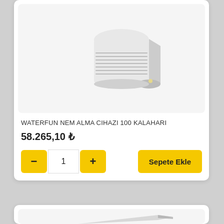[Figure (photo): White ceiling/floor-mount air conditioning or dehumidifier unit (WATERFUN NEM ALMA CIHAZI 100 KALAHARI) shown at an angle on light grey background]
WATERFUN NEM ALMA CIHAZI 100 KALAHARI
58.265,10 ₺
− 1 + Sepete Ekle
[Figure (photo): Partial view of a second product image on a light grey background, partially cropped at bottom of page]